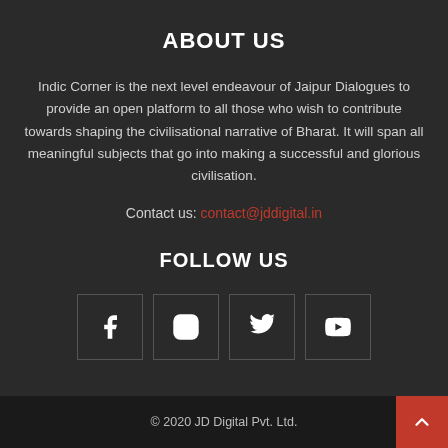ABOUT US
Indic Corner is the next level endeavour of Jaipur Dialogues to provide an open platform to all those who wish to contribute towards shaping the civilisational narrative of Bharat. It will span all meaningful subjects that go into making a successful and glorious civilisation.
Contact us: contact@jddigital.in
FOLLOW US
[Figure (infographic): Four social media icon boxes in a row: Facebook (f), Instagram (circle camera), Twitter (bird), YouTube (play button)]
© 2020 JD Digital Pvt. Ltd.